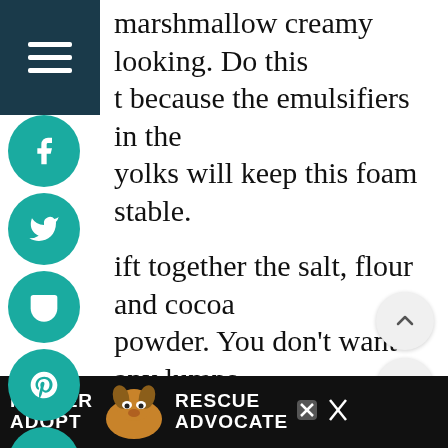marshmallow creamy looking. Do this because the emulsifiers in the yolks will keep this foam stable.
Sift together the salt, flour and cocoa powder. You don't want any lumps.
Whip the whites together with the other half of the sugar to glossy, medium-stiff peaks.
Pour the whites onto the yolks and
[Figure (screenshot): Advertisement banner at bottom: FOSTER ADOPT / RESCUE ADVOCATE with dog photo]